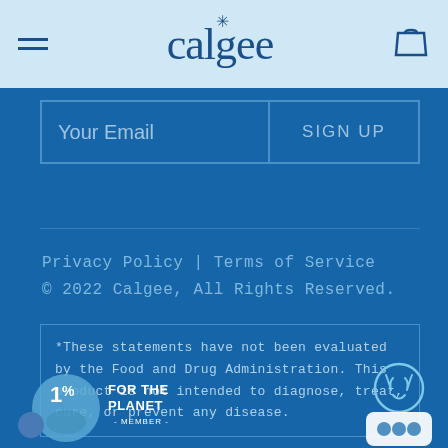calgee
Your Email    SIGN UP
Privacy Policy | Terms of Service
© 2022 Calgee, All Rights Reserved.
*These statements have not been evaluated by the Food and Drug Administration. This product is not intended to diagnose, treat, cure, or prevent any disease.
[Figure (logo): 1% for the Planet member logo — circular badge with '1%' and text 'FOR THE PLANET - MEMBER -']
[Figure (logo): Circular chat/support icon with antler graphic]